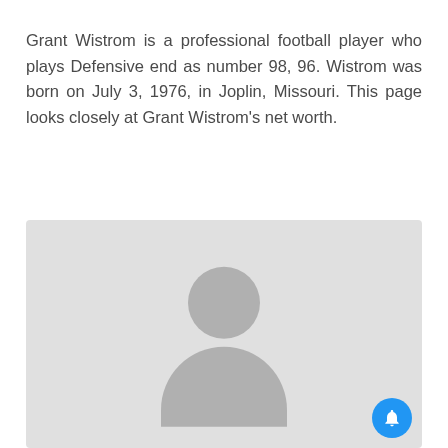Grant Wistrom is a professional football player who plays Defensive end as number 98, 96. Wistrom was born on July 3, 1976, in Joplin, Missouri. This page looks closely at Grant Wistrom's net worth.
[Figure (photo): Placeholder profile image with a generic person silhouette (head and shoulders) on a light gray background, with a blue notification bell button in the bottom-right corner.]